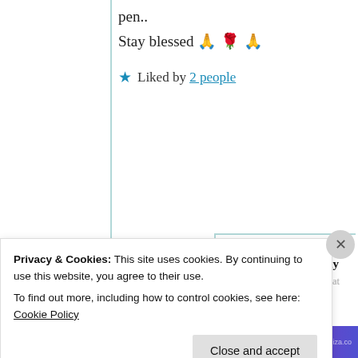pen..
Stay blessed 🙏 🌹 🙏
★ Liked by 2 people
Suma Reddy
26th Jun 2021 at 10:56 am
This means a lot Krish
Privacy & Cookies: This site uses cookies. By continuing to use this website, you agree to their use.
To find out more, including how to control cookies, see here: Cookie Policy
Close and accept